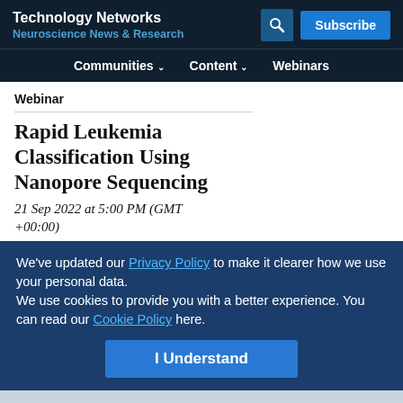Technology Networks
Neuroscience News & Research
Communities ∨   Content ∨   Webinars
Webinar
Rapid Leukemia Classification Using Nanopore Sequencing
21 Sep 2022 at 5:00 PM (GMT +00:00)
We've updated our Privacy Policy to make it clearer how we use your personal data.
We use cookies to provide you with a better experience. You can read our Cookie Policy here.
I Understand
Advertisement
[Figure (illustration): Somalogic advertisement banner: Pioneer with 7,000 proteins]